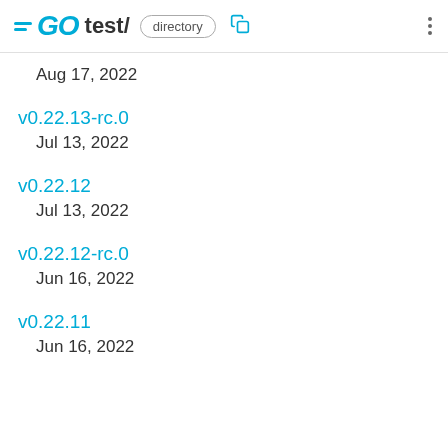GO test/ directory
Aug 17, 2022
v0.22.13-rc.0
Jul 13, 2022
v0.22.12
Jul 13, 2022
v0.22.12-rc.0
Jun 16, 2022
v0.22.11
Jun 16, 2022